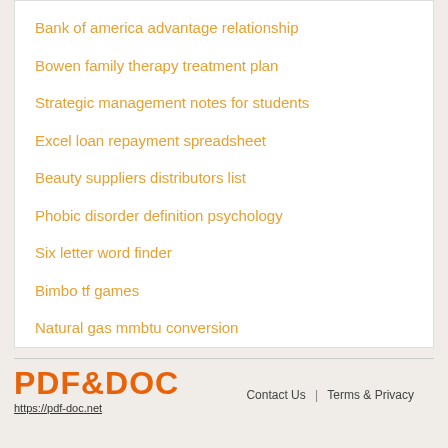Bank of america advantage relationship
Bowen family therapy treatment plan
Strategic management notes for students
Excel loan repayment spreadsheet
Beauty suppliers distributors list
Phobic disorder definition psychology
Six letter word finder
Bimbo tf games
Natural gas mmbtu conversion
PDF&DOC https://pdf-doc.net Contact Us | Terms & Privacy